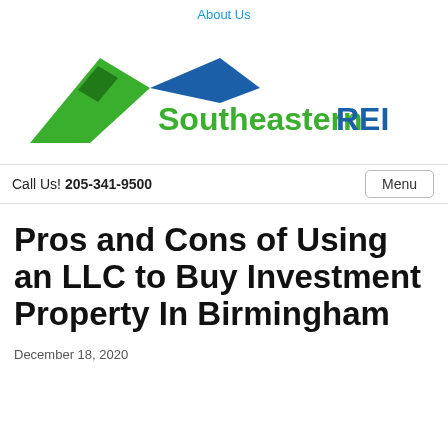About Us
[Figure (logo): Southeastern REI logo with green and blue roof/house graphic and green text 'Southeastern' and blue text 'REI']
Call Us! 205-341-9500
Pros and Cons of Using an LLC to Buy Investment Property In Birmingham
December 18, 2020